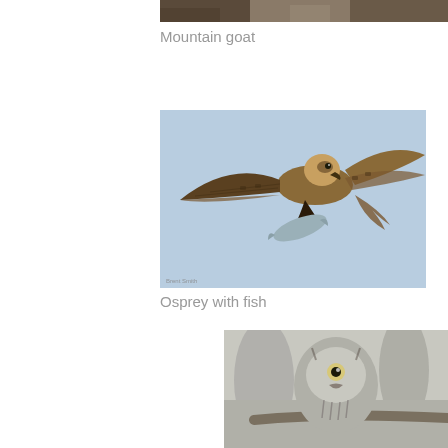[Figure (photo): Partial/cropped image at top of page, appears to show a mountain goat in a natural setting]
Mountain goat
[Figure (photo): Osprey in flight carrying a fish, wings spread wide against a clear light blue sky]
Osprey with fish
[Figure (photo): Close-up of a bird of prey (hawk or similar raptor) perched on a branch, partially visible at bottom of page]